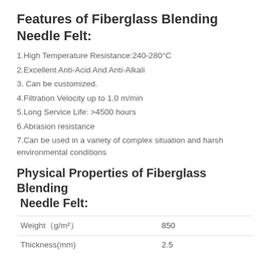Features of Fiberglass Blending Needle Felt:
1.High Temperature Resistance:240-280°C
2.Excellent Anti-Acid And Anti-Alkali
3. Can be customized.
4.Filtration Velocity up to 1.0 m/min
5.Long Service Life: >4500 hours
6.Abrasion resistance
7.Can be used in a variety of complex situation and harsh environmental conditions
Physical Properties of Fiberglass Blending Needle Felt:
|  |  |
| --- | --- |
| Weight（g/m²） | 850 |
| Thickness(mm) | 2.5 |